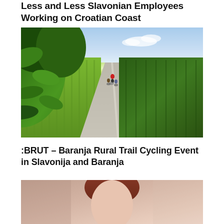Less and Less Slavonian Employees Working on Croatian Coast
[Figure (photo): Cyclists riding along a rural road through vineyards and cornfields in Slavonia and Baranja region, viewed through green foliage in the foreground]
:BRUT – Baranja Rural Trail Cycling Event in Slavonija and Baranja
[Figure (photo): Partial view of a person, cropped at bottom of page]